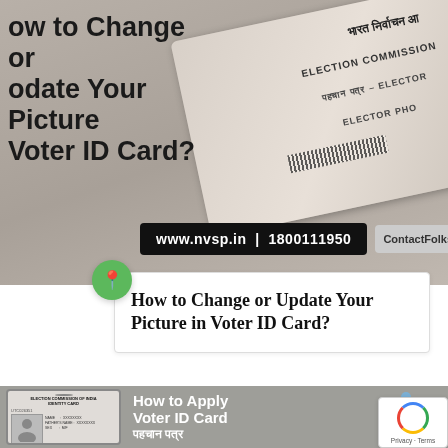[Figure (photo): Banner image showing an Indian Election Commission Voter ID card with text 'How to Change or Update Your Picture in Voter ID Card?' overlaid, along with website www.nvsp.in | 1800111950 and ContactFolks branding]
How to Change or Update Your Picture in Voter ID Card?
[Figure (infographic): Bottom banner showing a Voter ID card illustration on the left with text 'How to Apply Voter ID Card' in the middle, Hindi text 'पहचान पत्र', and the Election Commission of India logo with pillars on the right. A reCAPTCHA badge is in the bottom-right corner.]